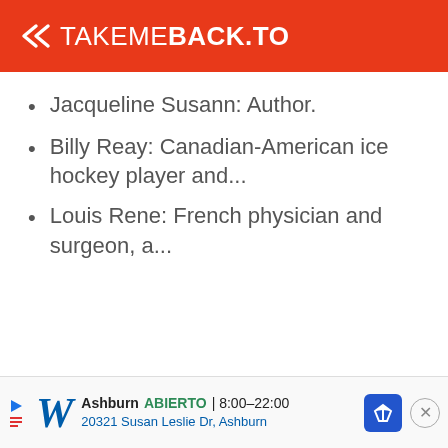TAKEMEBACK.TO
Jacqueline Susann: Author.
Billy Reay: Canadian-American ice hockey player and...
Louis Rene: French physician and surgeon, a...
Ashburn ABIERTO | 8:00–22:00 20321 Susan Leslie Dr, Ashburn